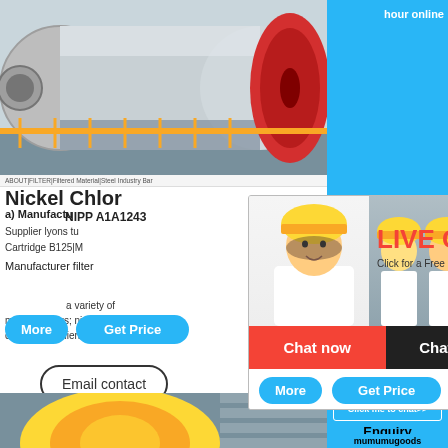[Figure (photo): Industrial ball mill or rotary kiln machine in a factory setting with yellow safety fence]
ABOUT|FILTER|Filtered Material|Steel Industry Bar
Nickel Chloride Manufacturer
Supplier lyons tu
Cartridge B125|M
Manufacturer filter
[Figure (photo): Live chat popup overlay with female engineer and workers in hard hats, LIVE CHAT heading in red, Chat now and Chat later buttons]
a variety of manufacturers; nickel chloride suppliers and low
More
Get Price
Email contact
[Figure (photo): Right side panel with cone crusher image and Click me to chat button]
hour online
Click me to chat>>
Enquiry
mumumugoods
[Figure (photo): Bottom partial photo of yellow industrial equipment]